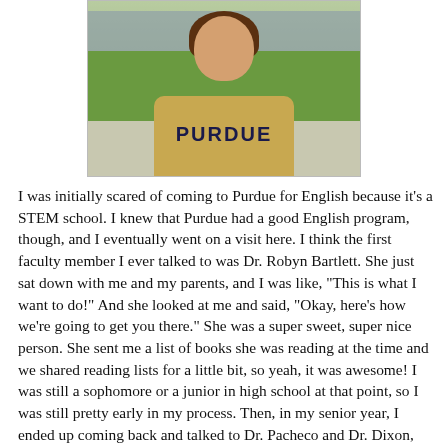[Figure (photo): Smiling young woman wearing a tan Purdue hoodie, standing outdoors near water with green grass and trees in background.]
I was initially scared of coming to Purdue for English because it's a STEM school. I knew that Purdue had a good English program, though, and I eventually went on a visit here. I think the first faculty member I ever talked to was Dr. Robyn Bartlett. She just sat down with me and my parents, and I was like, “This is what I want to do!” And she looked at me and said, “Okay, here’s how we’re going to get you there.” She was a super sweet, super nice person. She sent me a list of books she was reading at the time and we shared reading lists for a little bit, so yeah, it was awesome! I was still a sophomore or a junior in high school at that point, so I was still pretty early in my process. Then, in my senior year, I ended up coming back and talked to Dr. Pacheco and Dr. Dixon, who I just absolutely loved. Really